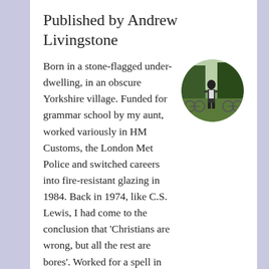Published by Andrew Livingstone
[Figure (photo): Circular profile photo of Andrew Livingstone, showing a person standing near bicycles outdoors with trees in background]
Born in a stone-flagged under-dwelling, in an obscure Yorkshire village. Funded for grammar school by my aunt, worked variously in HM Customs, the London Met Police and switched careers into fire-resistant glazing in 1984. Back in 1974, like C.S. Lewis, I had come to the conclusion that 'Christians are wrong, but all the rest are bores'. Worked for a spell in Israel, and understood why the 'Austrian asylum-seeker''s final solution did not succeed. Confronted now